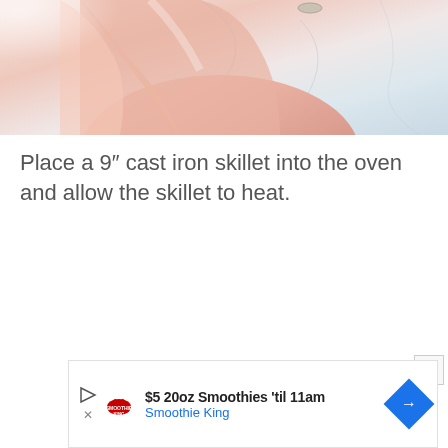[Figure (photo): Close-up photo of a hand with a ring on one finger, held over a white marble surface]
Place a 9” cast iron skillet into the oven and allow the skillet to heat.
[Figure (screenshot): Advertisement banner: $5 20oz Smoothies 'til 11am - Smoothie King, with blue diamond arrow logo and play button icon]